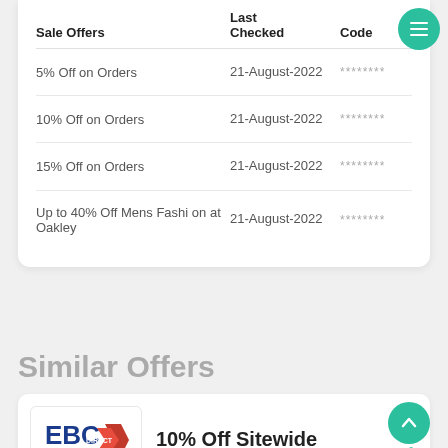| Sale Offers | Last Checked | Code |
| --- | --- | --- |
| 5% Off on Orders | 21-August-2022 | ******** |
| 10% Off on Orders | 21-August-2022 | ******** |
| 15% Off on Orders | 21-August-2022 | ******** |
| Up to 40% Off Mens Fashion at Oakley | 21-August-2022 | ******** |
Similar Offers
[Figure (logo): EBC Brakes Direct logo with red chevron, blue text, with a green 'Code' badge below]
10% Off Sitewide
Ends: 31-December-2022